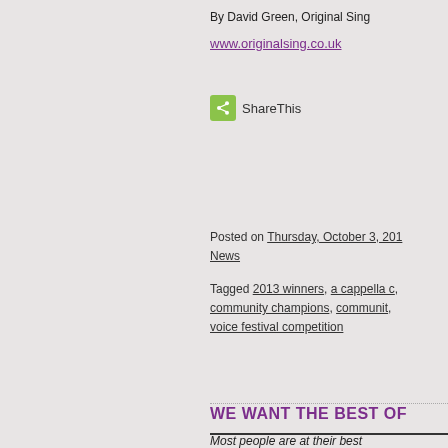By David Green, Original Sing
www.originalsing.co.uk
[Figure (other): ShareThis button with green icon]
Posted on Thursday, October 3, 2013 | News
Tagged 2013 winners, a cappella c..., community champions, community..., voice festival competition
WE WANT THE BEST OF
Most people are at their best for some new Voice Festival t their 'Best self' to the Voice F